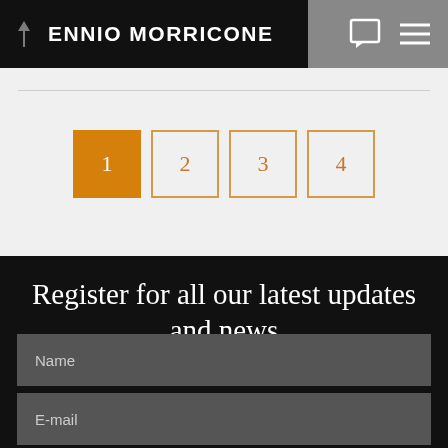ENNIO MORRICONE
1
2
3
4
Register for all our latest updates and news
Name
E-mail